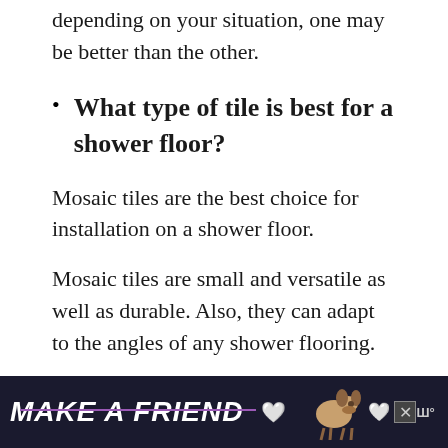depending on your situation, one may be better than the other.
What type of tile is best for a shower floor?
Mosaic tiles are the best choice for installation on a shower floor.
Mosaic tiles are small and versatile as well as durable. Also, they can adapt to the angles of any shower flooring.
[Figure (screenshot): Advertisement banner with dark background showing 'MAKE A FRIEND' text with dog image and heart icons]